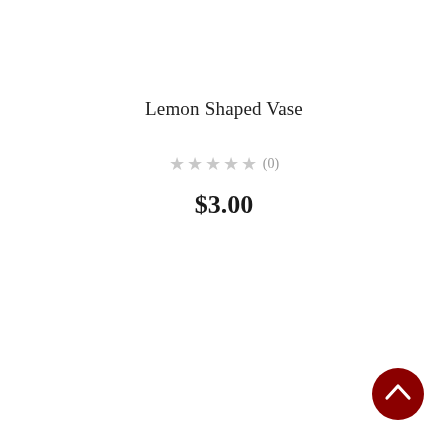Lemon Shaped Vase
☆☆☆☆☆ (0)
$3.00
[Figure (illustration): Dark red circular back-to-top button with upward chevron arrow in bottom-right corner]